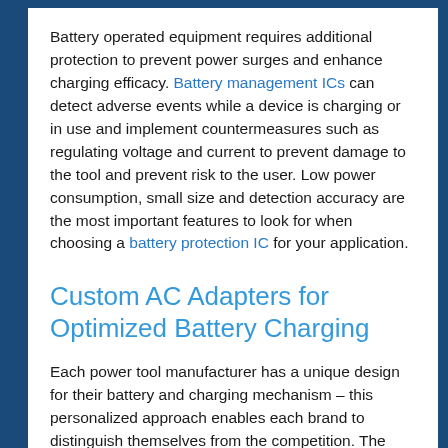Battery operated equipment requires additional protection to prevent power surges and enhance charging efficacy. Battery management ICs can detect adverse events while a device is charging or in use and implement countermeasures such as regulating voltage and current to prevent damage to the tool and prevent risk to the user. Low power consumption, small size and detection accuracy are the most important features to look for when choosing a battery protection IC for your application.
Custom AC Adapters for Optimized Battery Charging
Each power tool manufacturer has a unique design for their battery and charging mechanism – this personalized approach enables each brand to distinguish themselves from the competition. The